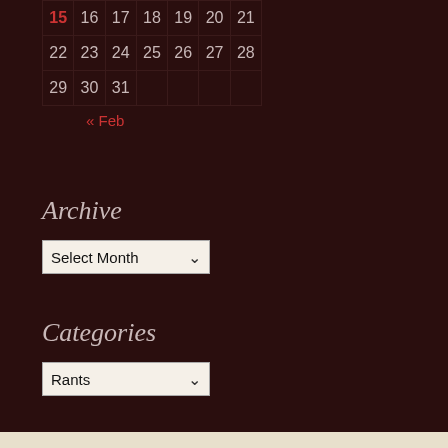| 15 | 16 | 17 | 18 | 19 | 20 | 21 |
| 22 | 23 | 24 | 25 | 26 | 27 | 28 |
| 29 | 30 | 31 |  |  |  |  |
« Feb
Archive
Select Month
Categories
Rants